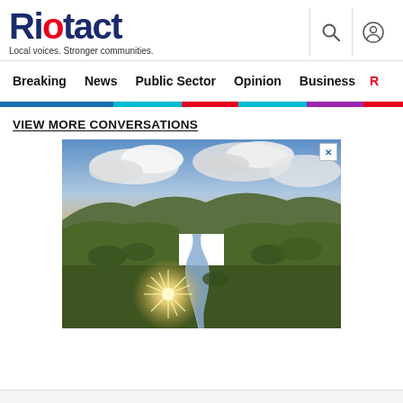Riotact – Local voices. Stronger communities.
Breaking  News  Public Sector  Opinion  Business  R
VIEW MORE CONVERSATIONS
[Figure (photo): Aerial landscape photo of a winding river through green hills and valleys under a dramatic cloudy sky with a sun starburst effect in the lower portion of the image. Advertisement image with a close (X) button.]